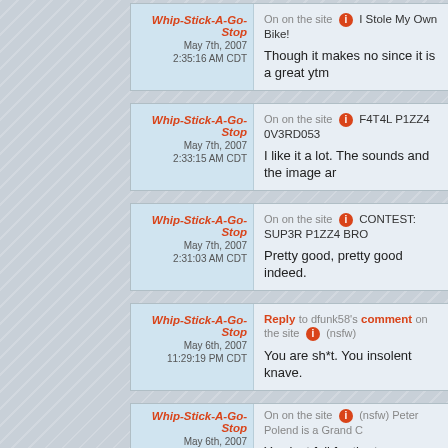Whip-Stick-A-Go-Stop | May 7th, 2007 2:35:16 AM CDT | On on the site I Stole My Own Bike! | Though it makes no since it is a great ytm
Whip-Stick-A-Go-Stop | May 7th, 2007 2:33:15 AM CDT | On on the site F4T4L P1ZZ4 0V3RD053 | I like it a lot. The sounds and the image ar
Whip-Stick-A-Go-Stop | May 7th, 2007 2:31:03 AM CDT | On on the site CONTEST: SUP3R P1ZZ4 BRO | Pretty good, pretty good indeed.
Whip-Stick-A-Go-Stop | May 6th, 2007 11:29:19 PM CDT | Reply to dfunk58's comment on the site (nsfw) | You are sh*t. You insolent knave.
Whip-Stick-A-Go-Stop | May 6th, 2007 2:35:42 AM CDT | On on the site (nsfw) Peter Polend is a Grand C | You just fell for the trap. (Voated 5)